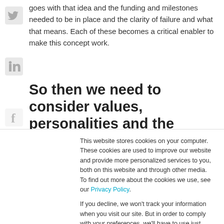goes with that idea and the funding and milestones needed to be in place and the clarity of failure and what that means. Each of these becomes a critical enabler to make this concept work.
So then we need to consider values, personalities and the
This website stores cookies on your computer. These cookies are used to improve our website and provide more personalized services to you, both on this website and through other media. To find out more about the cookies we use, see our Privacy Policy.
If you decline, we won't track your information when you visit our site. But in order to comply with your preferences, we'll have to use just one tiny cookie so that you're not asked to make this choice again.
Cookie settings   Accept   Decline